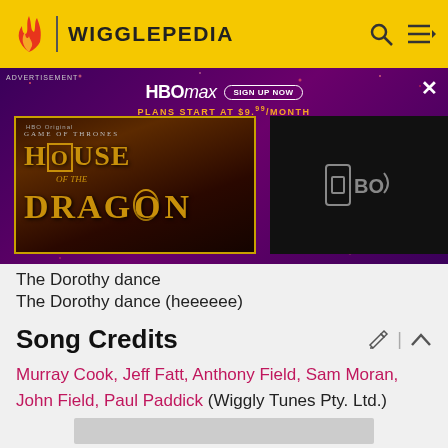WIGGLEPEDIA
[Figure (screenshot): HBO Max advertisement banner featuring House of the Dragon promotion with 'SIGN UP NOW' button and 'PLANS START AT $9.99/MONTH' text]
The Dorothy dance
The Dorothy dance (heeeeee)
Song Credits
Murray Cook, Jeff Fatt, Anthony Field, Sam Moran, John Field, Paul Paddick (Wiggly Tunes Pty. Ltd.)